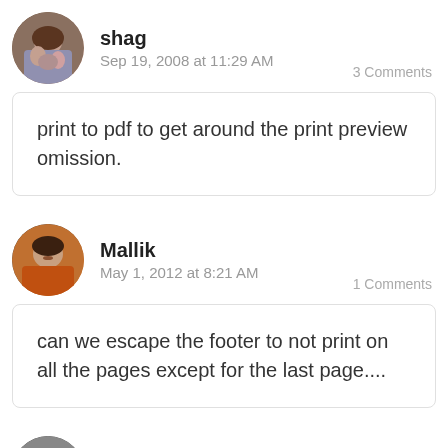shag
Sep 19, 2008 at 11:29 AM    3 Comments
print to pdf to get around the print preview omission.
Mallik
May 1, 2012 at 8:21 AM    1 Comments
can we escape the footer to not print on all the pages except for the last page....
David Lauridsen